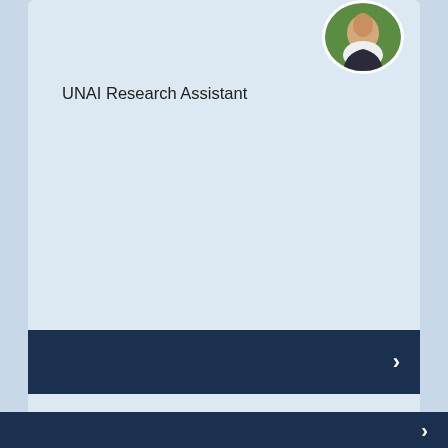[Figure (photo): Circular profile photo of a person outdoors, partially visible at top right of card]
UNAI Research Assistant
[Figure (other): Dark navy navigation bar with right arrow]
But first, cookies We use cookies to improve your experience. Please click 'accept' if you are happy for us to use cookies, in line with our Cookie Policy
ACCEPT
Decline
[Figure (other): Dark navy navigation bar with right arrow at bottom]